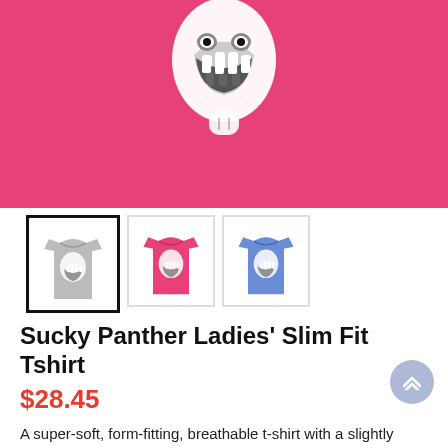[Figure (photo): Product photo of a pink/hot pink women's slim fit t-shirt with a panther logo graphic on it, shown from the front, cropped to show the middle/lower portion of the shirt.]
[Figure (photo): Three thumbnail images of the same t-shirt in three color variants: gray (selected, with black border), hot pink, and blue.]
Sucky Panther Ladies' Slim Fit Tshirt
$28.45
A super-soft, form-fitting, breathable t-shirt with a slightly lower neckline than a classic t-shirt.